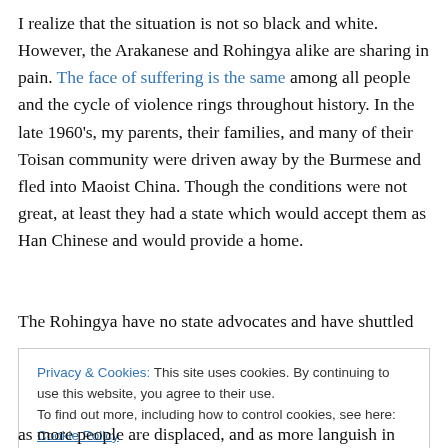I realize that the situation is not so black and white. However, the Arakanese and Rohingya alike are sharing in pain. The face of suffering is the same among all people and the cycle of violence rings throughout history. In the late 1960's, my parents, their families, and many of their Toisan community were driven away by the Burmese and fled into Maoist China. Though the conditions were not great, at least they had a state which would accept them as Han Chinese and would provide a home.
The Rohingya have no state advocates and have shuttled
Privacy & Cookies: This site uses cookies. By continuing to use this website, you agree to their use.
To find out more, including how to control cookies, see here: Cookie Policy
Close and accept
as more people are displaced, and as more languish in